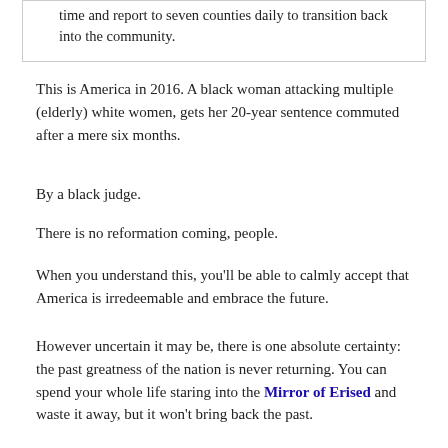time and report to seven counties daily to transition back into the community.
This is America in 2016. A black woman attacking multiple (elderly) white women, gets her 20-year sentence commuted after a mere six months.
By a black judge.
There is no reformation coming, people.
When you understand this, you'll be able to calmly accept that America is irredeemable and embrace the future.
However uncertain it may be, there is one absolute certainty: the past greatness of the nation is never returning. You can spend your whole life staring into the Mirror of Erised and waste it away, but it won't bring back the past.